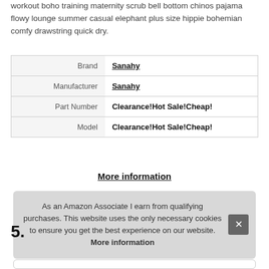workout boho training maternity scrub bell bottom chinos pajama flowy lounge summer casual elephant plus size hippie bohemian comfy drawstring quick dry.
| Brand | Sanahy |
| Manufacturer | Sanahy |
| Part Number | Clearance!Hot Sale!Cheap! |
| Model | Clearance!Hot Sale!Cheap! |
More information
As an Amazon Associate I earn from qualifying purchases. This website uses the only necessary cookies to ensure you get the best experience on our website. More information